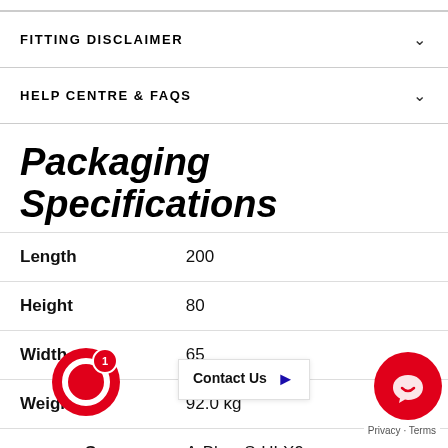FITTING DISCLAIMER
HELP CENTRE & FAQS
Packaging Specifications
|  |  |
| --- | --- |
| Length | 200 |
| Height | 80 |
| Width | 65 |
| Weight | 92.0 kg |
| S | A-Bbar-S-HLX9... |
| Packing | Skid |